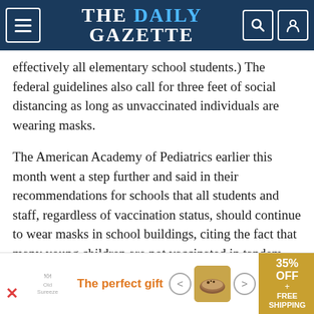THE DAILY GAZETTE
effectively all elementary school students.) The federal guidelines also call for three feet of social distancing as long as unvaccinated individuals are wearing masks.
The American Academy of Pediatrics earlier this month went a step further and said in their recommendations for schools that all students and staff, regardless of vaccination status, should continue to wear masks in school buildings, citing the fact that many young children are not vaccinated in tandem with the challenge schools will have knowing who is and isn't vaccinated.
[Figure (infographic): Advertisement banner: 'The perfect gift' with food bowl image and '35% OFF + FREE SHIPPING' offer in gold box]